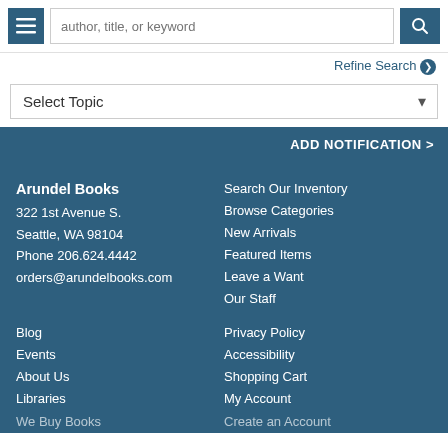[Figure (screenshot): Navigation header with hamburger menu button, search input field with placeholder 'author, title, or keyword', and search button]
Refine Search ❯
Select Topic
ADD NOTIFICATION >
Arundel Books
322 1st Avenue S.
Seattle, WA 98104
Phone 206.624.4442
orders@arundelbooks.com
Search Our Inventory
Browse Categories
New Arrivals
Featured Items
Leave a Want
Our Staff
Blog
Events
About Us
Libraries
We Buy Books
Privacy Policy
Accessibility
Shopping Cart
My Account
Create an Account